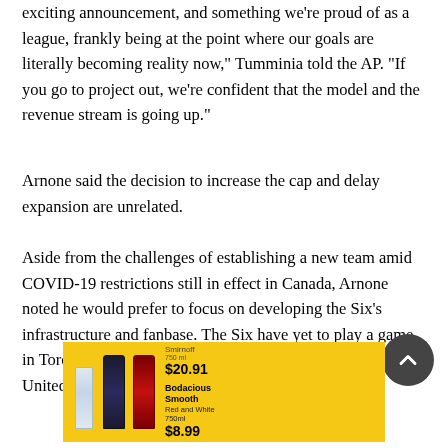exciting announcement, and something we're proud of as a league, frankly being at the point where our goals are literally becoming reality now," Tumminia told the AP. "If you go to project out, we're confident that the model and the revenue stream is going up."
Arnone said the decision to increase the cap and delay expansion are unrelated.
Aside from the challenges of establishing a new team amid COVID-19 restrictions still in effect in Canada, Arnone noted he would prefer to focus on developing the Six's infrastructure and fanbase. The Six have yet to play a game in Toronto after spending their first season exclusively in the United States due to the border being closed.
[Figure (other): Advertisement banner with yellow background featuring Smirnoff vodka bottle priced at $20.91 and Bodacious Smooth Red and White 750ml wine priced at $8.99]